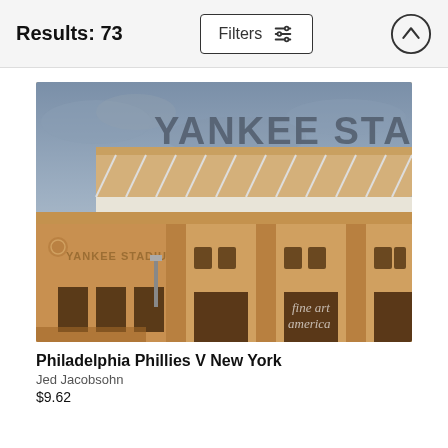Results: 73
[Figure (screenshot): Search results page header with Results: 73 count, Filters button with sliders icon, and an up-arrow circle button]
[Figure (photo): Photograph of Yankee Stadium exterior showing the iconic facade and large YANKEE STADIUM lettering on the roof, watermarked with fine art america logo]
Philadelphia Phillies V New York
Jed Jacobsohn
$9.62